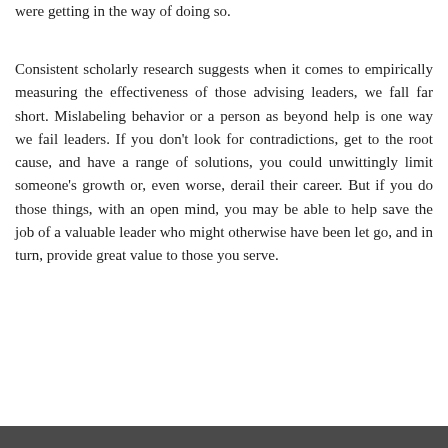were getting in the way of doing so.
Consistent scholarly research suggests when it comes to empirically measuring the effectiveness of those advising leaders, we fall far short. Mislabeling behavior or a person as beyond help is one way we fail leaders. If you don't look for contradictions, get to the root cause, and have a range of solutions, you could unwittingly limit someone's growth or, even worse, derail their career. But if you do those things, with an open mind, you may be able to help save the job of a valuable leader who might otherwise have been let go, and in turn, provide great value to those you serve.
Source